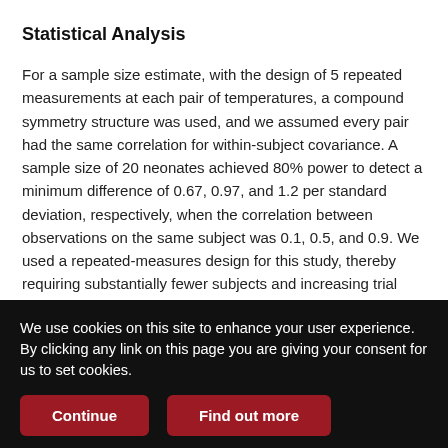Statistical Analysis
For a sample size estimate, with the design of 5 repeated measurements at each pair of temperatures, a compound symmetry structure was used, and we assumed every pair had the same correlation for within-subject covariance. A sample size of 20 neonates achieved 80% power to detect a minimum difference of 0.67, 0.97, and 1.2 per standard deviation, respectively, when the correlation between observations on the same subject was 0.1, 0.5, and 0.9. We used a repeated-measures design for this study, thereby requiring substantially fewer subjects and increasing trial feasibility compared to a 2-group or n-group comparison study.
We use cookies on this site to enhance your user experience. By clicking any link on this page you are giving your consent for us to set cookies.